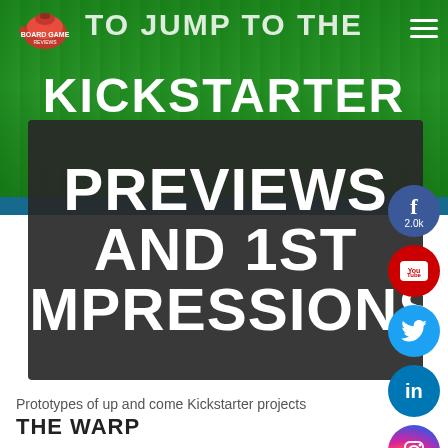[Figure (screenshot): Green game scene banner background with bold white text reading 'TO JUMP TO THE KICKSTARTER' and a navigation bar with logo and hamburger menu]
PREVIEWS AND 1ST IMPRESSIONS
[Figure (infographic): Social media icons column: Facebook (2.0k), YouTube, Twitter, LinkedIn, Instagram, Messenger]
Prototypes of up and come Kickstarter projects
THE WARP